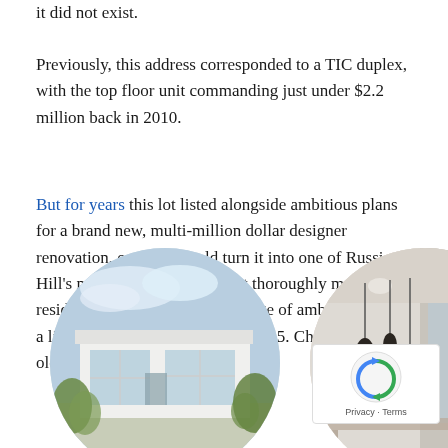it did not exist.
Previously, this address corresponded to a TIC duplex, with the top floor unit commanding just under $2.2 million back in 2010.
But for years this lot listed alongside ambitious plans for a brand new, multi-million dollar designer renovation, one that would turn it into one of Russian Hill’s most expensive and most thoroughly modern residences if realized. The package of ambitions asked a little less than $9.5 million in 2015. Check out the old renderings below:
[Figure (photo): Two circular cropped renderings of a modern house and interior, side by side at the bottom of the page. Left: exterior rendering of a modern white house with large windows and greenery. Right: interior rendering with pendant lights and modern furniture.]